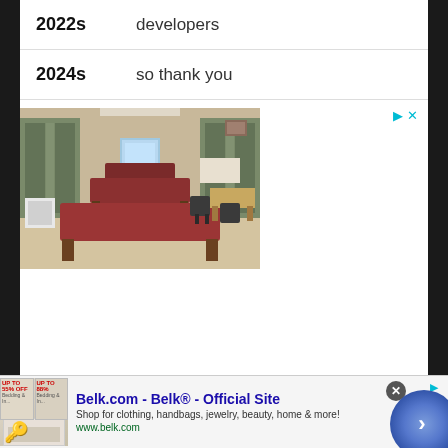| 2022s | developers |
| 2024s | so thank you |
[Figure (photo): Photo of a physical therapy or clinical room with several dark red/maroon padded treatment tables arranged in rows, chairs, windows with blinds, and a door at the far end.]
[Figure (photo): Bottom advertisement banner for Belk.com - Belk Official Site. Shows thumbnail images, ad text, URL www.belk.com, a close button, navigation arrow, and a blue circular button with chevron.]